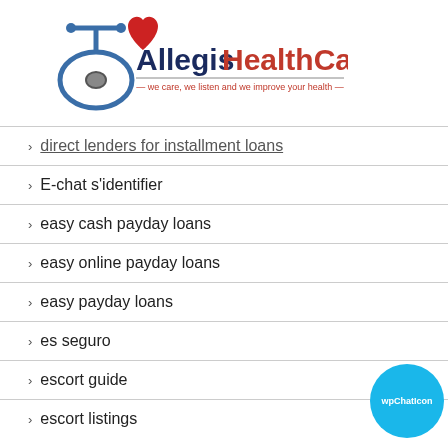[Figure (logo): Allegis HealthCare logo with red heart and stethoscope. Text reads 'Allegis' in dark navy, 'HealthCare' in salmon/red, tagline: 'we care, we listen and we improve your health']
direct lenders for installment loans
E-chat s'identifier
easy cash payday loans
easy online payday loans
easy payday loans
es seguro
escort guide
escort listings